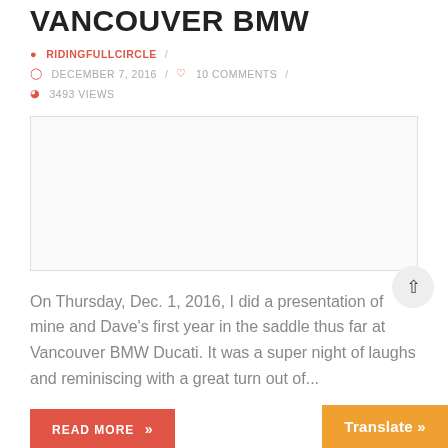VANCOUVER BMW
RIDINGFULLCIRCLE  /  DECEMBER 7, 2016  /  10 COMMENTS  /  3493 VIEWS
[Figure (photo): Image placeholder / blank image area for Vancouver BMW article]
On Thursday, Dec. 1, 2016, I did a presentation of mine and Dave's first year in the saddle thus far at Vancouver BMW Ducati. It was a super night of laughs and reminiscing with a great turn out of...
READ MORE »
Translate »